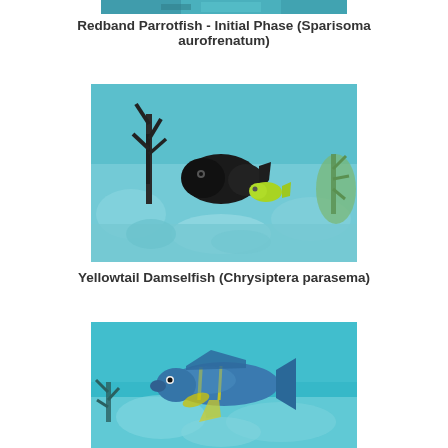[Figure (photo): Underwater photo of a Redband Parrotfish in initial phase, partial view cropped at top]
Redband Parrotfish - Initial Phase (Sparisoma aurofrenatum)
[Figure (photo): Underwater photo of a Yellowtail Damselfish among coral reef with dark fish and a bright yellow-green fish]
Yellowtail Damselfish (Chrysiptera parasema)
[Figure (photo): Underwater photo of a fish with yellow and blue stripes swimming above coral reef, partially cropped at bottom]